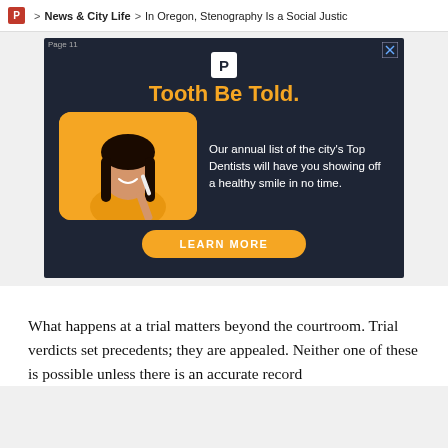P > News & City Life > In Oregon, Stenography Is a Social Justic
[Figure (advertisement): Advertisement banner with dark navy background. Shows a logo icon (white P on white square), bold orange title 'Tooth Be Told.', a smiling woman in yellow holding a toothbrush on a yellow rounded-rectangle background, white body text 'Our annual list of the city's Top Dentists will have you showing off a healthy smile in no time.', and a yellow 'LEARN MORE' button. Also shows 'Page 11' label in top-left corner and a close X button in top-right.]
What happens at a trial matters beyond the courtroom. Trial verdicts set precedents; they are appealed. Neither one of these is possible unless there is an accurate record